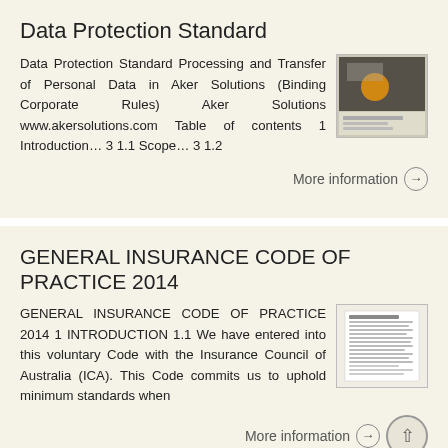Data Protection Standard
Data Protection Standard Processing and Transfer of Personal Data in Aker Solutions (Binding Corporate Rules) Aker Solutions www.akersolutions.com Table of contents 1 Introduction… 3 1.1 Scope… 3 1.2
[Figure (photo): Thumbnail image of the Data Protection Standard document cover]
More information →
GENERAL INSURANCE CODE OF PRACTICE 2014
GENERAL INSURANCE CODE OF PRACTICE 2014 1 INTRODUCTION 1.1 We have entered into this voluntary Code with the Insurance Council of Australia (ICA). This Code commits us to uphold minimum standards when
[Figure (photo): Thumbnail image of the General Insurance Code of Practice document]
More information →